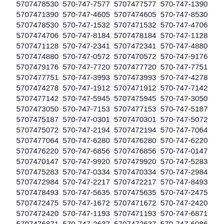5707478530 570-747-7577 5707477577 570-747-1390 5707471390 570-747-4605 5707474605 570-747-8530 5707478530 570-747-1532 5707471532 570-747-4706 5707474706 570-747-8184 5707478184 570-747-1128 5707471128 570-747-2341 5707472341 570-747-4880 5707474880 570-747-0572 5707470572 570-747-9176 5707479176 570-747-7720 5707477720 570-747-7751 5707477751 570-747-3993 5707473993 570-747-4278 5707474278 570-747-1912 5707471912 570-747-7142 5707477142 570-747-5945 5707475945 570-747-3050 5707473050 570-747-7153 5707477153 570-747-5187 5707475187 570-747-0301 5707470301 570-747-5072 5707475072 570-747-2194 5707472194 570-747-7064 5707477064 570-747-6280 5707476280 570-747-6220 5707476220 570-747-6856 5707476856 570-747-0147 5707470147 570-747-9920 5707479920 570-747-5283 5707475283 570-747-0334 5707470334 570-747-2984 5707472984 570-747-2217 5707472217 570-747-8493 5707478493 570-747-5635 5707475635 570-747-2475 5707472475 570-747-1672 5707471672 570-747-2420 5707472420 570-747-1193 5707471193 570-747-6871 5707476871 570-747-2637 5707472637 570-747-6086 5707476086 570-747-7749 5707477749 570-747-1965 5707471965 570-747-5705 5707475705 570-747-6894 5707476894 570-747-1639 5707471639 570-747-1705 5707471705 570-747-0072 5707470072 570-747-0100